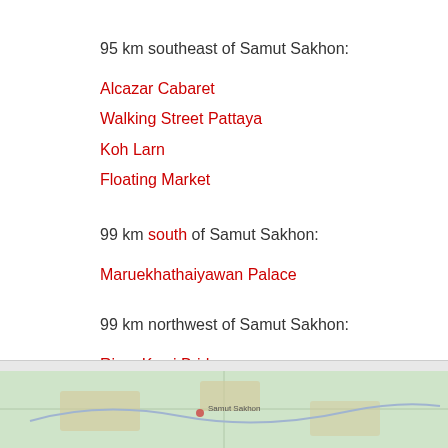95 km southeast of Samut Sakhon:
Alcazar Cabaret
Walking Street Pattaya
Koh Larn
Floating Market
99 km south of Samut Sakhon:
Maruekhathaiyawan Palace
99 km northwest of Samut Sakhon:
River Kwai Bridge
Kanchanaburi
[Figure (map): Map showing region around Samut Sakhon, Thailand]